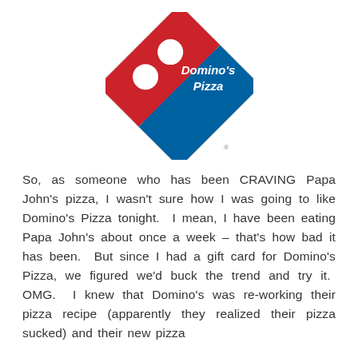[Figure (logo): Domino's Pizza logo — diamond-shaped badge with red section (two white dots) on left and blue section with 'Domino's Pizza' text on right, rotated 45 degrees, with registered trademark symbol]
So, as someone who has been CRAVING Papa John's pizza, I wasn't sure how I was going to like Domino's Pizza tonight.  I mean, I have been eating Papa John's about once a week – that's how bad it has been.  But since I had a gift card for Domino's Pizza, we figured we'd buck the trend and try it.  OMG.  I knew that Domino's was re-working their pizza recipe (apparently they realized their pizza sucked) and their new pizza